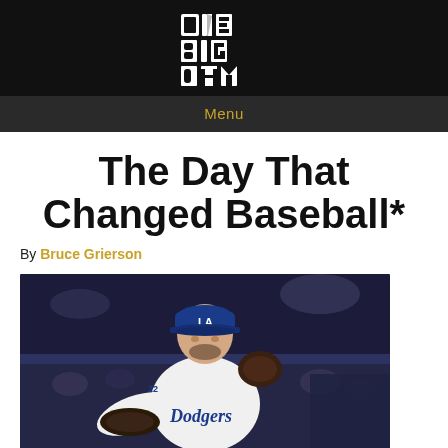ONE BIG DAY
Menu
The Day That Changed Baseball*
By Bruce Grierson
[Figure (photo): Baseball pitcher in Los Angeles Dodgers uniform and blue LA cap mid-wind-up throwing a pitch, wearing a brown/black glove, with a crowd in the blurred background]